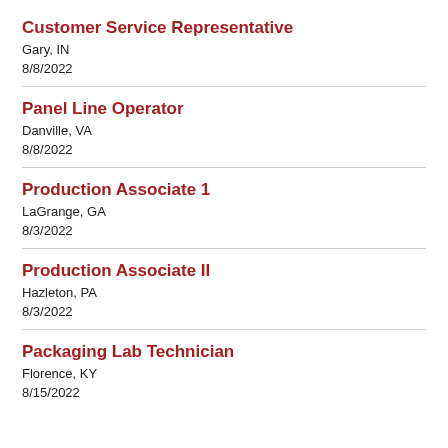Customer Service Representative
Gary, IN
8/8/2022
Panel Line Operator
Danville, VA
8/8/2022
Production Associate 1
LaGrange, GA
8/3/2022
Production Associate II
Hazleton, PA
8/3/2022
Packaging Lab Technician
Florence, KY
8/15/2022